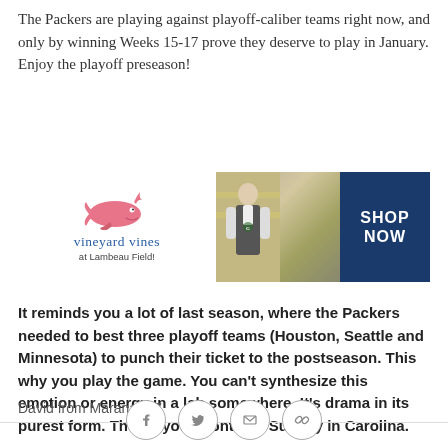The Packers are playing against playoff-caliber teams right now, and only by winning Weeks 15-17 prove they deserve to play in January. Enjoy the playoff preseason!
[Figure (illustration): Vineyard Vines advertisement banner at Lambeau Field featuring a pink whale logo, brand name, and a man wearing a vest with a 'SHOP NOW' call-to-action on a dark blue background.]
It reminds you a lot of last season, where the Packers needed to best three playoff teams (Houston, Seattle and Minnesota) to punch their ticket to the postseason. This why you play the game. You can't synthesize this emotion or energy in a lab somewhere. It's drama in its purest form. The playoffs continue Sunday in Carolina.
David from Marana, AZ
[Figure (other): Social sharing icons row: Facebook, Twitter, Email, and a chain/link icon, all in circular outlines.]